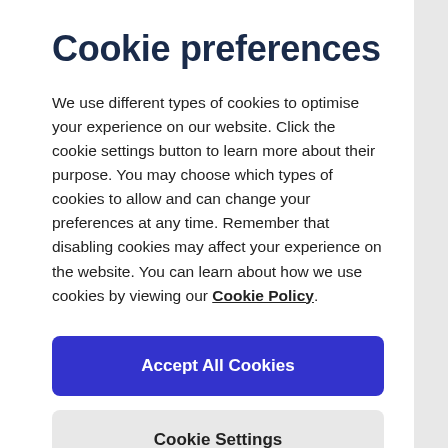Cookie preferences
We use different types of cookies to optimise your experience on our website. Click the cookie settings button to learn more about their purpose. You may choose which types of cookies to allow and can change your preferences at any time. Remember that disabling cookies may affect your experience on the website. You can learn about how we use cookies by viewing our Cookie Policy.
Accept All Cookies
Cookie Settings